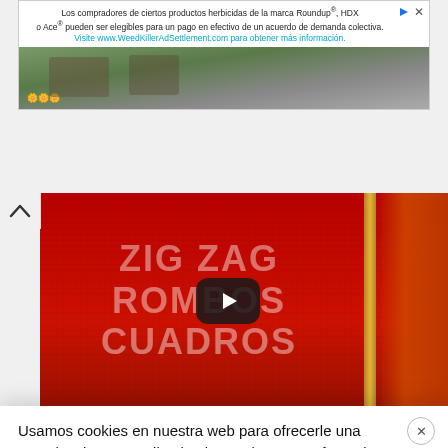[Figure (screenshot): Advertisement banner for WeedKillerAdSettlement.com (Roundup/HDX/Ace herbicide class action) with text in Spanish and a garden/stone path background image]
[Figure (screenshot): Video thumbnail showing red crocheted fabric with text ZIG ZAG ROMBOS CUADROS and a YouTube play button overlay]
Usamos cookies en nuestra web para ofrecerle una experiencia personalizada al recordar sus preferencias. Al pulsar en 'Aceptar' consiente en el uso de todas las cookies
No vender mi información personal. Leer más Rechazar
Aceptar  Configuración de cookies